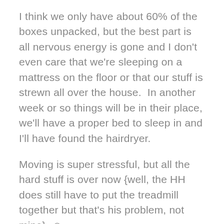I think we only have about 60% of the boxes unpacked, but the best part is all nervous energy is gone and I don't even care that we're sleeping on a mattress on the floor or that our stuff is strewn all over the house.  In another week or so things will be in their place, we'll have a proper bed to sleep in and I'll have found the hairdryer.
Moving is super stressful, but all the hard stuff is over now {well, the HH does still have to put the treadmill together but that's his problem, not mine}. ☺
Goal #2 — Garden, Garden, Garden
The color pallet for the front garden at the new place is going to be blue, pink, white and green. I've